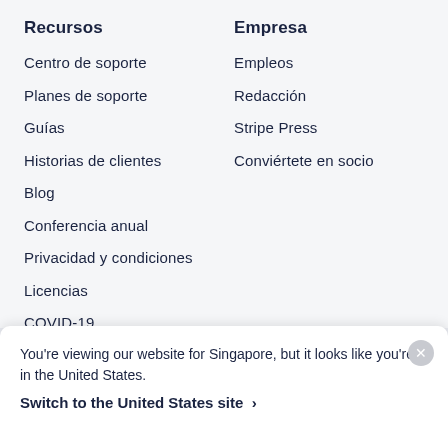Recursos
Centro de soporte
Planes de soporte
Guías
Historias de clientes
Blog
Conferencia anual
Privacidad y condiciones
Licencias
COVID-19
Mapa del sitio
Configuración de…
Empresa
Empleos
Redacción
Stripe Press
Conviértete en socio
You're viewing our website for Singapore, but it looks like you're in the United States.
Switch to the United States site ›